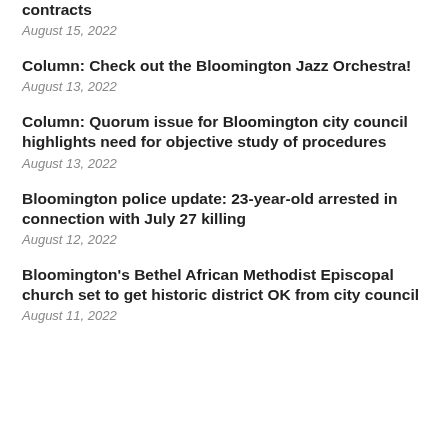contracts
August 15, 2022
Column: Check out the Bloomington Jazz Orchestra!
August 13, 2022
Column: Quorum issue for Bloomington city council highlights need for objective study of procedures
August 13, 2022
Bloomington police update: 23-year-old arrested in connection with July 27 killing
August 12, 2022
Bloomington's Bethel African Methodist Episcopal church set to get historic district OK from city council
August 11, 2022